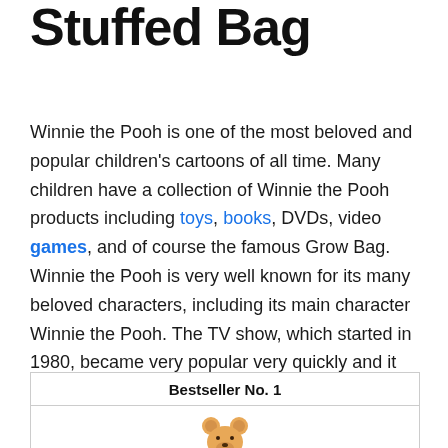Stuffed Bag
Winnie the Pooh is one of the most beloved and popular children's cartoons of all time. Many children have a collection of Winnie the Pooh products including toys, books, DVDs, video games, and of course the famous Grow Bag. Winnie the Pooh is very well known for its many beloved characters, including its main character Winnie the Pooh. The TV show, which started in 1980, became very popular very quickly and it has been in continuous operation ever since.
| Bestseller No. 1 |
| --- |
| [image of bear] |